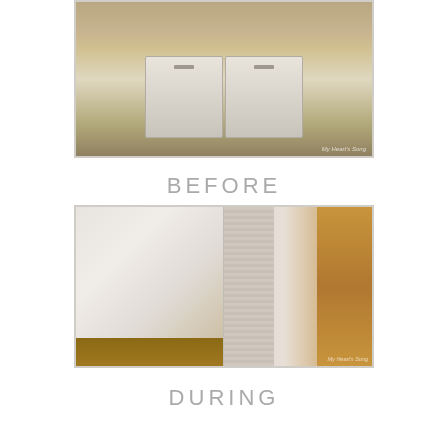[Figure (photo): Photo of a laundry room with two side-by-side washer and dryer appliances in beige/white color, with watermark 'My Heart's Song' in bottom right corner]
BEFORE
[Figure (photo): Two side-by-side before photos: left shows an empty room with white walls, wood trim, and hardwood floor; right shows a closet area with wallpaper and a wooden shelving unit. Watermark 'My Heart's Song' visible.]
DURING